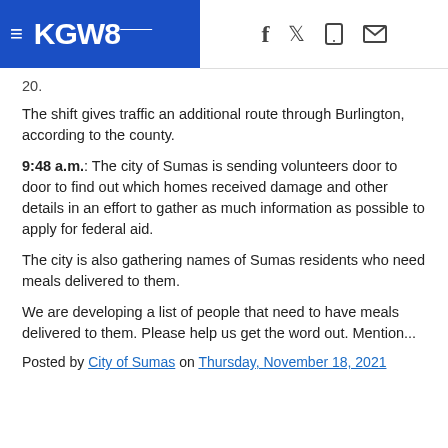KGW8
20.
The shift gives traffic an additional route through Burlington, according to the county.
9:48 a.m.: The city of Sumas is sending volunteers door to door to find out which homes received damage and other details in an effort to gather as much information as possible to apply for federal aid.
The city is also gathering names of Sumas residents who need meals delivered to them.
We are developing a list of people that need to have meals delivered to them. Please help us get the word out. Mention...
Posted by City of Sumas on Thursday, November 18, 2021